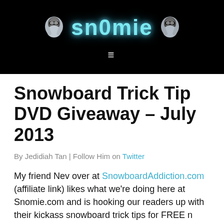[Figure (logo): Snomie website header with black background, ninja characters flanking a cyan glowing 'snomie' logo text, and a hamburger menu icon below]
Snowboard Trick Tip DVD Giveaway – July 2013
By Jedidiah Tan | Follow Him on Twitter
My friend Nev over at SnowboardAddiction.com (affiliate link) likes what we're doing here at Snomie.com and is hooking our readers up with their kickass snowboard trick tips for FREE n...